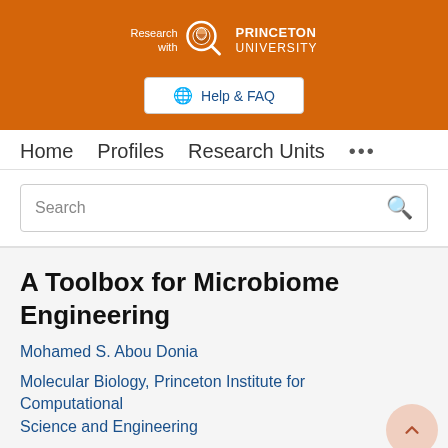[Figure (logo): Princeton University 'Research with' logo in white on orange banner, with magnifying glass icon and university name]
Help & FAQ
Home   Profiles   Research Units   ...
Search
A Toolbox for Microbiome Engineering
Mohamed S. Abou Donia
Molecular Biology, Princeton Institute for Computational Science and Engineering
Research output: Contribution to journal › Short survey › peer-